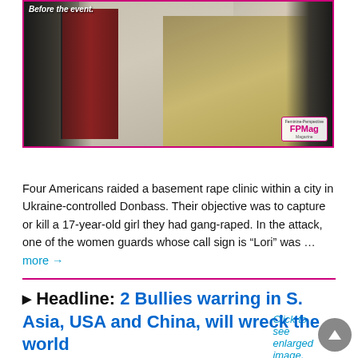[Figure (photo): A nighttime or dimly lit exterior photo showing a building entrance with a dark red door, a wall, and a brick/cobblestone path. Text overlay reads 'Before the event.' FPMag (Feminine-Perspective Magazine) logo badge visible in lower right corner.]
Click to see enlarged image.
Four Americans raided a basement rape clinic within a city in Ukraine-controlled Donbass. Their objective was to capture or kill a 17-year-old girl they had gang-raped. In the attack, one of the women guards whose call sign is “Lori” was … more →
▸ Headline: 2 Bullies warring in S. Asia, USA and China, will wreck the world